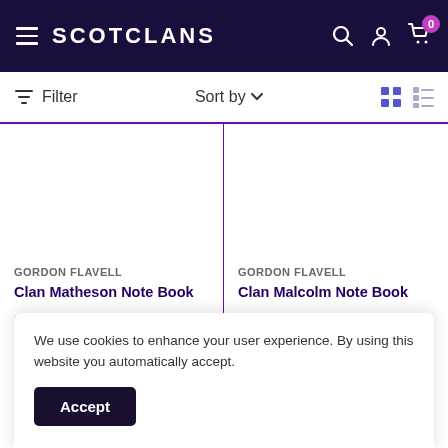SCOTCLANS
Filter   Sort by
GORDON FLAVELL
Clan Matheson Note Book
$3.46
GORDON FLAVELL
Clan Malcolm Note Book
$3.46
We use cookies to enhance your user experience. By using this website you automatically accept.
Accept